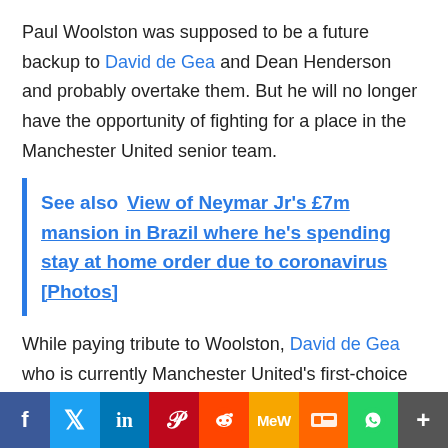Paul Woolston was supposed to be a future backup to David de Gea and Dean Henderson and probably overtake them. But he will no longer have the opportunity of fighting for a place in the Manchester United senior team.
See also  View of Neymar Jr's £7m mansion in Brazil where he's spending stay at home order due to coronavirus [Photos]
While paying tribute to Woolston, David de Gea who is currently Manchester United's first-choice goalkeeper said he has spoken with the retried goalkeeper and had told him that life is more important than football.
[Figure (other): Social media sharing bar with icons for Facebook, Twitter, LinkedIn, Pinterest, Reddit, MeWe, Mix, WhatsApp, and More]